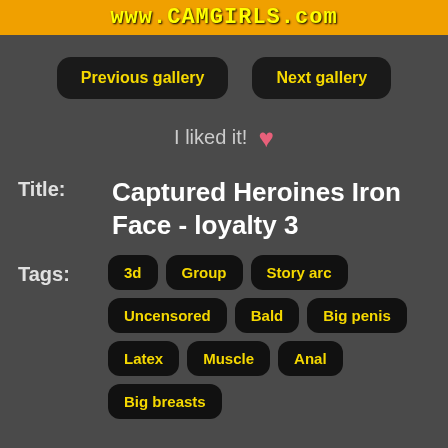www.CAMGIRLS.com
Previous gallery   Next gallery
I liked it! ♥
Title: Captured Heroines Iron Face - loyalty 3
Tags: 3d  Group  Story arc  Uncensored  Bald  Big penis  Latex  Muscle  Anal  Big breasts